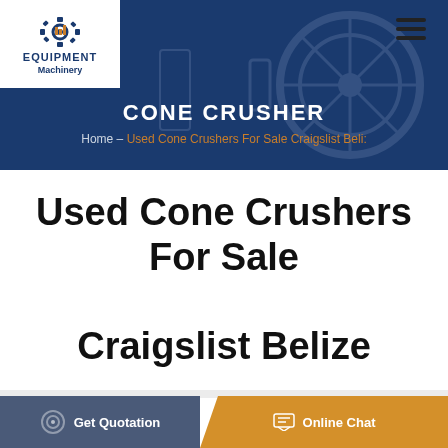[Figure (logo): Equipment Machinery logo with gear icon, blue text saying EQUIPMENT Machinery on white background]
CONE CRUSHER
Home – Used Cone Crushers For Sale Craigslist Beli:
Used Cone Crushers For Sale Craigslist Belize